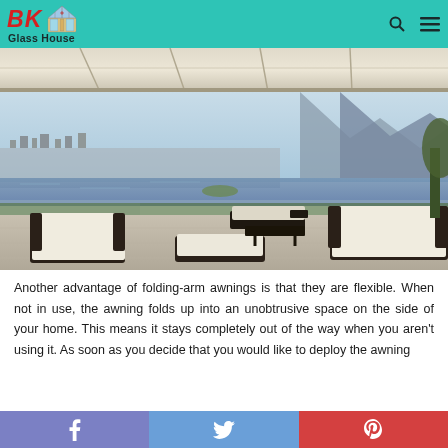BK Glass House
[Figure (photo): Luxury outdoor terrace with folding-arm awning overhead, rattan sofa sets with white cushions, and a panoramic view of a lake with mountains and a city in the background.]
Another advantage of folding-arm awnings is that they are flexible. When not in use, the awning folds up into an unobtrusive space on the side of your home. This means it stays completely out of the way when you aren't using it. As soon as you decide that you would like to deploy the awning...